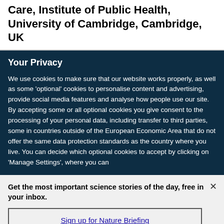Care, Institute of Public Health, University of Cambridge, Cambridge, UK
Your Privacy
We use cookies to make sure that our website works properly, as well as some 'optional' cookies to personalise content and advertising, provide social media features and analyse how people use our site. By accepting some or all optional cookies you give consent to the processing of your personal data, including transfer to third parties, some in countries outside of the European Economic Area that do not offer the same data protection standards as the country where you live. You can decide which optional cookies to accept by clicking on 'Manage Settings', where you can
Get the most important science stories of the day, free in your inbox.
Sign up for Nature Briefing